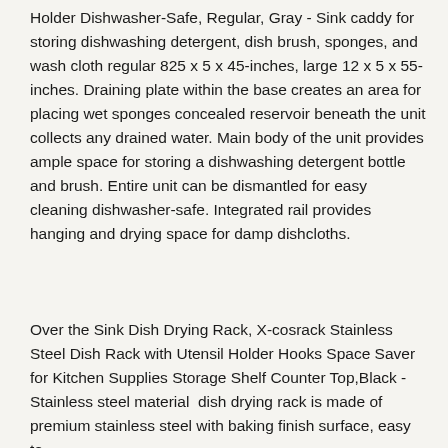Holder Dishwasher-Safe, Regular, Gray - Sink caddy for storing dishwashing detergent, dish brush, sponges, and wash cloth regular 825 x 5 x 45-inches, large 12 x 5 x 55-inches. Draining plate within the base creates an area for placing wet sponges concealed reservoir beneath the unit collects any drained water. Main body of the unit provides ample space for storing a dishwashing detergent bottle and brush. Entire unit can be dismantled for easy cleaning dishwasher-safe. Integrated rail provides hanging and drying space for damp dishcloths.
Over the Sink Dish Drying Rack, X-cosrack Stainless Steel Dish Rack with Utensil Holder Hooks Space Saver for Kitchen Supplies Storage Shelf Counter Top,Black -   Stainless steel material  dish drying rack is made of premium stainless steel with baking finish surface, easy to